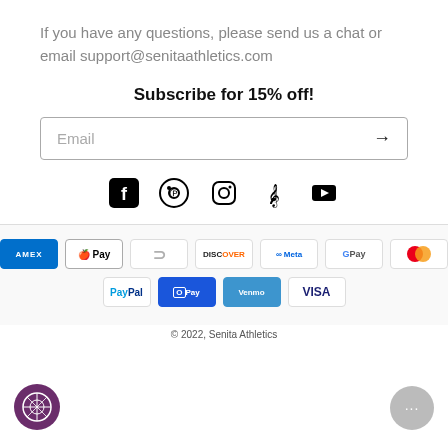If you have any questions, please send us a chat or email support@senitaathletics.com
Subscribe for 15% off!
[Figure (screenshot): Email input field with placeholder text 'Email' and right arrow submit button, bordered box]
[Figure (infographic): Social media icons: Facebook, Pinterest, Instagram, TikTok, YouTube]
[Figure (infographic): Payment method badges: American Express, Apple Pay, Diners Club, Discover, Meta Pay, Google Pay, Mastercard, PayPal, OPay, Venmo, Visa]
© 2022, Senita Athletics